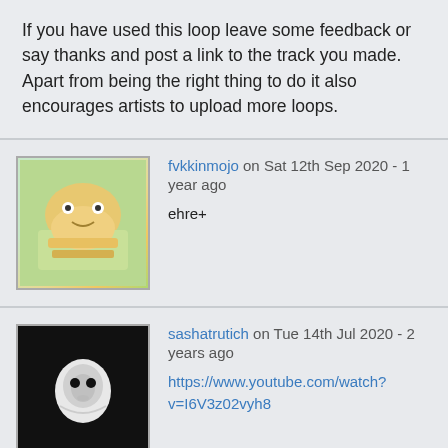If you have used this loop leave some feedback or say thanks and post a link to the track you made. Apart from being the right thing to do it also encourages artists to upload more loops.
fvkkinmojo on Sat 12th Sep 2020 - 1 year ago
ehre+
sashatrutich on Tue 14th Jul 2020 - 2 years ago
https://www.youtube.com/watch?v=I6V3z02vyh8
Mickeyme on Sat 15th Feb 2020 - 2 years ago
https://soundcloud.com/yitbarek-maied/vibez165